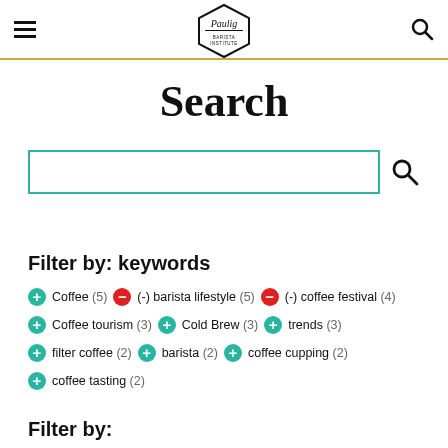Paulig Barista Institute — navigation header
Search
[Figure (other): Search input box with teal border and search icon button]
Filter by: keywords
+ Coffee (5)  (-) barista lifestyle (5)  (-) coffee festival (4)
+ Coffee tourism (3)  + Cold Brew (3)  + trends (3)
+ filter coffee (2)  + barista (2)  + coffee cupping (2)
+ coffee tasting (2)
Filter by: